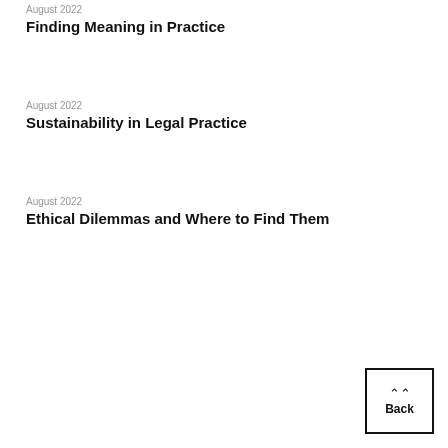August 2022
Finding Meaning in Practice
August 2022
Sustainability in Legal Practice
August 2022
Ethical Dilemmas and Where to Find Them